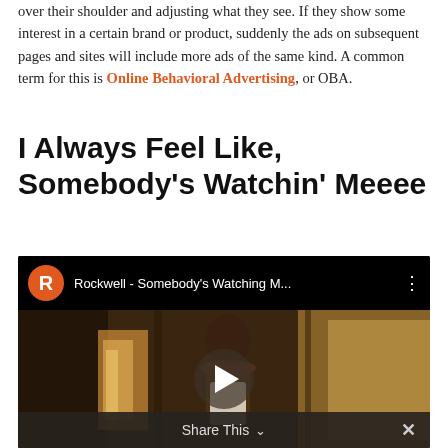over their shoulder and adjusting what they see. If they show some interest in a certain brand or product, suddenly the ads on subsequent pages and sites will include more ads of the same kind. A common term for this is Online Behavioral Advertising, or OBA.
I Always Feel Like, Somebody's Watchin' Meeee
[Figure (screenshot): YouTube video embed showing Rockwell - Somebody's Watching M... with channel icon R in orange circle, video thumbnail of person in doorway, play button overlay, and Share This bar at bottom]